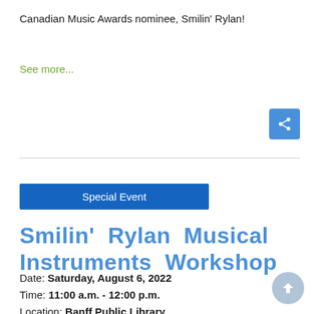Canadian Music Awards nominee, Smilin' Rylan!
See more...
Special Event
Smilin' Rylan Musical Instruments Workshop
Date: Saturday, August 6, 2022
Time: 11:00 a.m. - 12:00 p.m.
Location: Banff Public Library